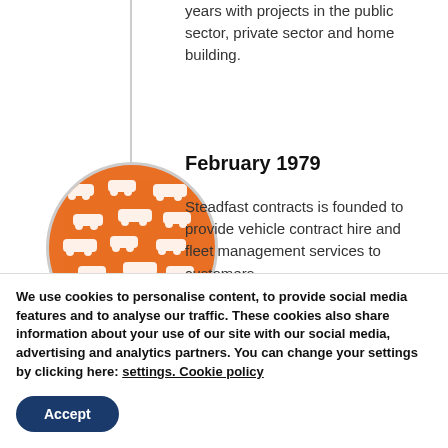years with projects in the public sector, private sector and home building.
February 1979
[Figure (illustration): Orange circle with white car icons forming a pattern, representing vehicle fleet services]
Steadfast contracts is founded to provide vehicle contract hire and fleet management services to customers.
January 1985
[Figure (illustration): Dark blue circle partially visible at bottom of timeline section]
We use cookies to personalise content, to provide social media features and to analyse our traffic. These cookies also share information about your use of our site with our social media, advertising and analytics partners. You can change your settings by clicking here: settings. Cookie policy
Accept